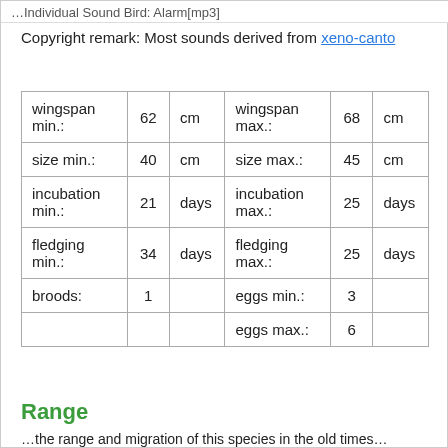…Individual Sound Bird: Alarm[mp3]
Copyright remark: Most sounds derived from xeno-canto
| wingspan min.: | 62 | cm | wingspan max.: | 68 | cm |
| size min.: | 40 | cm | size max.: | 45 | cm |
| incubation min.: | 21 | days | incubation max.: | 25 | days |
| fledging min.: | 34 | days | fledging max.: | 25 | days |
| broods: | 1 |  | eggs min.: | 3 |  |
|  |  |  | eggs max.: | 6 |  |
Range
…the range and migration of this species in the old times…